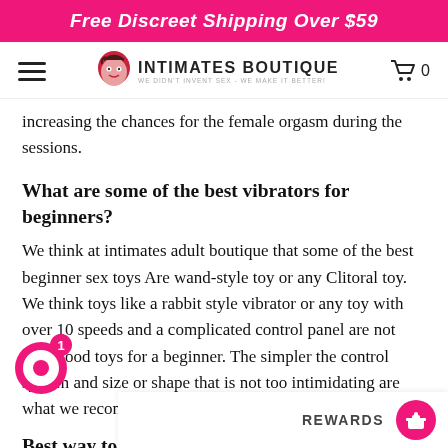Free Discreet Shipping Over $59
[Figure (logo): Intimates Boutique logo with illustrated face and tagline 'We didn't invent sex - We make it better!']
increasing the chances for the female orgasm during the sessions.
What are some of the best vibrators for beginners?
We think at intimates adult boutique that some of the best beginner sex toys Are wand-style toy or any Clitoral toy. We think toys like a rabbit style vibrator or any toy with over 10 speeds and a complicated control panel are not very good toys for a beginner. The simpler the control system and size or shape that is not too intimidating are what we recommend for beginners.
Best way to clean a classic vibrator?